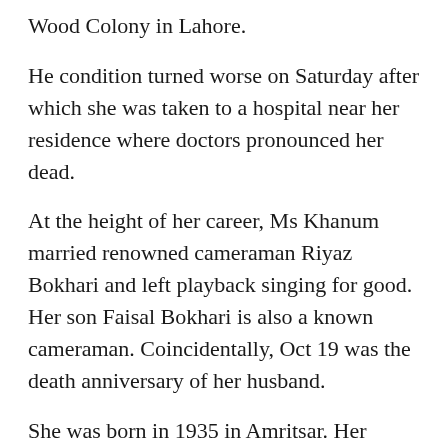Wood Colony in Lahore.
He condition turned worse on Saturday after which she was taken to a hospital near her residence where doctors pronounced her dead.
At the height of her career, Ms Khanum married renowned cameraman Riyaz Bokhari and left playback singing for good. Her son Faisal Bokhari is also a known cameraman. Coincidentally, Oct 19 was the death anniversary of her husband.
She was born in 1935 in Amritsar. Her family migrated to Lahore after partition. She did not belong to any traditional music ‘gharana’. Singing was her own passion with an additional factor of financial constraints she was facing.
Khanum began her career as a playback singer in Lollywood in 1951 from the film Billo and was recognised early on for her